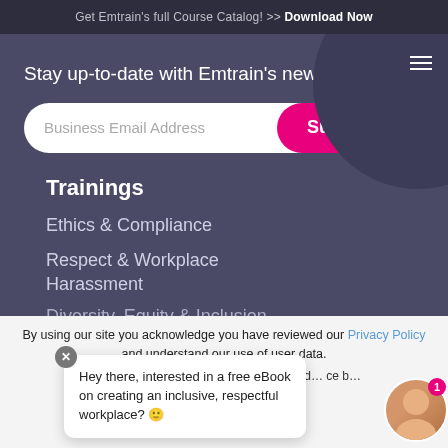Get Emtrain's full Course Catalog! >> Download Now
Stay up-to-date with Emtrain's newsletter.
Business Email Address
Subscribe
Trainings
Ethics & Compliance
Respect & Workplace Harassment
Diversity, Equity & Inclusion
By using our site you acknowledge you have reviewed our Privacy Policy and understand our use of user data. We respect… s and will comply with all d… ce b…
Hey there, interested in a free eBook on creating an inclusive, respectful workplace? 🙂